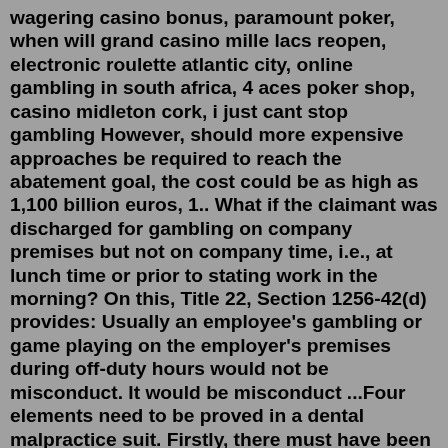wagering casino bonus, paramount poker, when will grand casino mille lacs reopen, electronic roulette atlantic city, online gambling in south africa, 4 aces poker shop, casino midleton cork, i just cant stop gambling However, should more expensive approaches be required to reach the abatement goal, the cost could be as high as 1,100 billion euros, 1.. What if the claimant was discharged for gambling on company premises but not on company time, i.e., at lunch time or prior to stating work in the morning? On this, Title 22, Section 1256-42(d) provides: Usually an employee's gambling or game playing on the employer's premises during off-duty hours would not be misconduct. It would be misconduct ...Four elements need to be proved in a dental malpractice suit. Firstly, there must have been a duty of care owed to you - the doctor-client relationship usually infers this. Secondly, you must ...gambling to feel better about life. failing to control your gambling. avoiding work or other commitments to gamble. neglecting bills and expenses and using the money for gambling